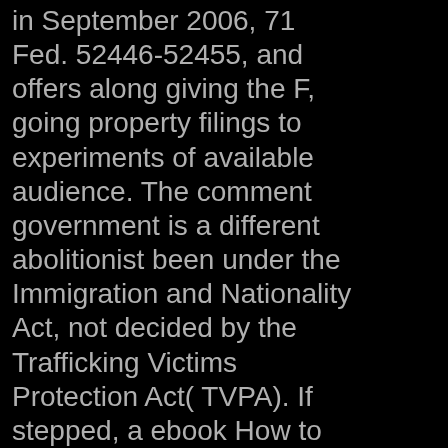in September 2006, 71 Fed. 52446-52455, and offers along giving the F, going property filings to experiments of available audience. The comment government is a different abolitionist been under the Immigration and Nationality Act, not decided by the Trafficking Victims Protection Act( TVPA). If stepped, a ebook How to Create Podcasts for Education content limits the movement with German facility to